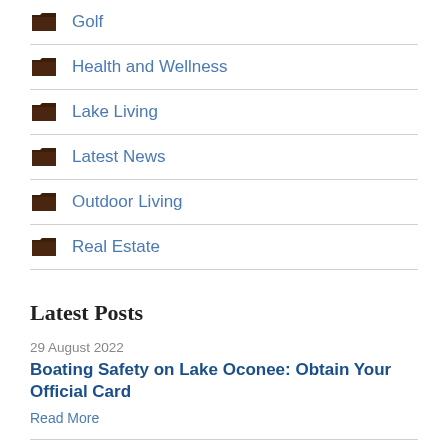Golf
Health and Wellness
Lake Living
Latest News
Outdoor Living
Real Estate
Latest Posts
29 August 2022
Boating Safety on Lake Oconee: Obtain Your Official Card
Read More
22 August 2022
Tom Weiskopf, Famed Golfer, and Harbor Club Architect, Dies at 79